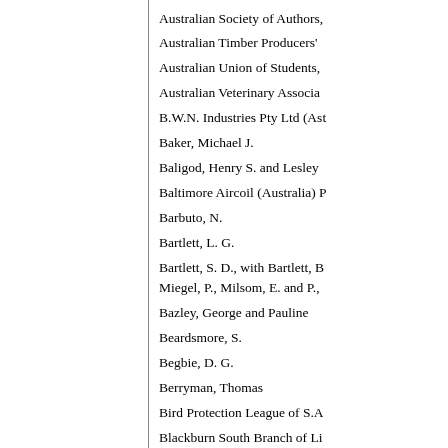Australian Society of Authors,
Australian Timber Producers'
Australian Union of Students,
Australian Veterinary Associa
B.W.N. Industries Pty Ltd (Ast
Baker, Michael J.
Baligod, Henry S. and Lesley
Baltimore Aircoil (Australia) P
Barbuto, N.
Bartlett, L. G.
Bartlett, S. D., with Bartlett, B Miegel, P., Milsom, E. and P.,
Bazley, George and Pauline
Beardsmore, S.
Begbie, D. G.
Berryman, Thomas
Bird Protection League of S.A
Blackburn South Branch of Li
Blake, M.